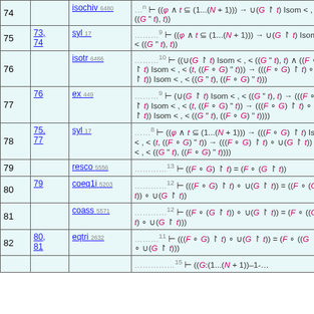| # | Refs | Rule | Formula |
| --- | --- | --- | --- |
| 74 |  | isochiv 6480 | ...ₙ ⊢ ((φ ∧ t ⊆ (1...(N + 1))) → ∪(G ↾ t) Isom < , < ((G " t), t)) |
| 75 | 73, 74 | syl 17 | .........₉ ⊢ ((φ ∧ t ⊆ (1...(N + 1))) → ∪(G ↾ t) Isom < , < ((G " t), t)) |
| 76 |  | isotr 6486 | ..........₁₀ ⊢ ((∪(G ↾ t) Isom < , < ((G " t), t) ∧ ((F ∘ G) ↾ t) Isom < , < (t, ((F ∘ G) " t))) → (((F ∘ G) ↾ t) ∘ ∪(G ↾ t)) Isom < , < ((G " t), ((F ∘ G) " t))) |
| 77 | 76 | ex 449 | .........₉ ⊢ (∪(G ↾ t) Isom < , < ((G " t), t) → (((F ∘ G) ↾ t) Isom < , < (t, ((F ∘ G) " t)) → (((F ∘ G) ↾ t) ∘ ∪(G ↾ t)) Isom < , < ((G " t), ((F ∘ G) " t)))) |
| 78 | 75, 77 | syl 17 | ........₈ ⊢ ((φ ∧ t ⊆ (1...(N + 1))) → (((F ∘ G) ↾ t) Isom < , < (t, ((F ∘ G) " t)) → (((F ∘ G) ↾ t) ∘ ∪(G ↾ t)) Isom < , < ((G " t), ((F ∘ G) " t)))) |
| 79 |  | resco 5556 | ............₁₃ ⊢ ((F ∘ G) ↾ t) = (F ∘ (G ↾ t)) |
| 80 | 79 | coeq1i 5203 | ..........₁₂ ⊢ (((F ∘ G) ↾ t) ∘ ∪(G ↾ t)) = ((F ∘ (G ↾ t)) ∘ ∪(G ↾ t)) |
| 81 |  | coass 5571 | ..........₁₂ ⊢ ((F ∘ (G ↾ t)) ∘ ∪(G ↾ t)) = (F ∘ ((G ↾ t) ∘ ∪(G ↾ t))) |
| 82 | 80, 81 | eqtri 2632 | .........₁₁ ⊢ (((F ∘ G) ↾ t) ∘ ∪(G ↾ t)) = (F ∘ ((G ↾ t) ∘ ∪(G ↾ t))) |